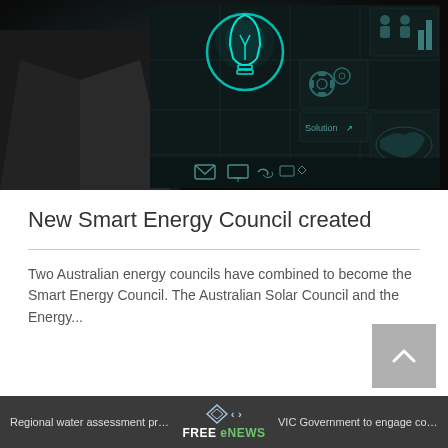[Figure (photo): Person in suit touching a glowing digital interface with a light bulb icon and various tech icons including gears, mail, monitor, and a world map on a dark background]
New Smart Energy Council created
Two Australian energy councils have combined to become the Smart Energy Council. The Australian Solar Council and the Energy...
Regional water assessment program in Q... < > VIC Government to engage community o... FREE eNEWS